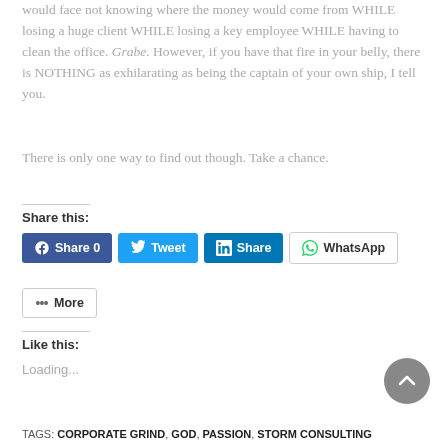would face not knowing where the money would come from WHILE losing a huge client WHILE losing a key employee WHILE having to clean the office. Grabe. However, if you have that fire in your belly, there is NOTHING as exhilarating as being the captain of your own ship, I tell you.
There is only one way to find out though. Take a chance.
Share this:
Share 0  Tweet  Share  WhatsApp  More
Like this:
Loading...
TAGS: CORPORATE GRIND, GOD, PASSION, STORM CONSULTING